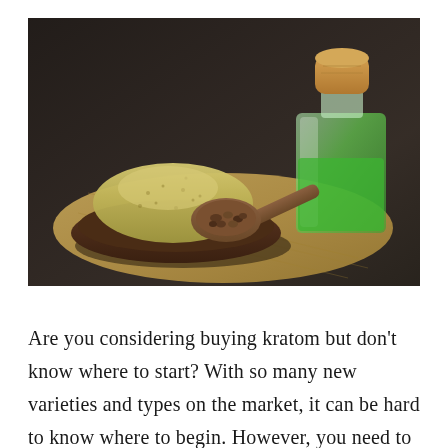[Figure (photo): A wooden bowl filled with greenish herbal powder (hemp/kratom), a wooden spoon with brown seeds, and a square glass bottle with cork stopper containing green liquid, all arranged on a burlap cloth against a dark wooden background.]
Are you considering buying kratom but don't know where to start? With so many new varieties and types on the market, it can be hard to know where to begin. However, you need to know the best way